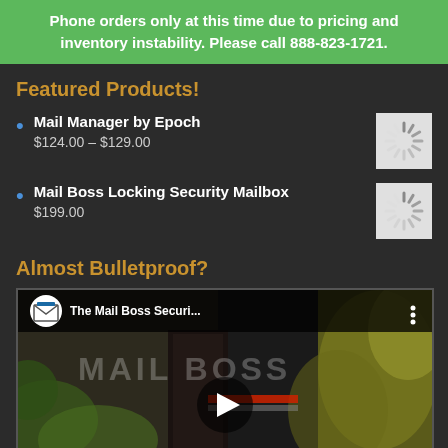Phone orders only at this time due to pricing and inventory instability. Please call 888-823-1721.
Featured Products!
Mail Manager by Epoch $124.00 – $129.00
Mail Boss Locking Security Mailbox $199.00
Almost Bulletproof?
[Figure (screenshot): YouTube video thumbnail for The Mail Boss Security video, showing dark outdoor scene with MAIL BOSS text overlay and a play button in the center]